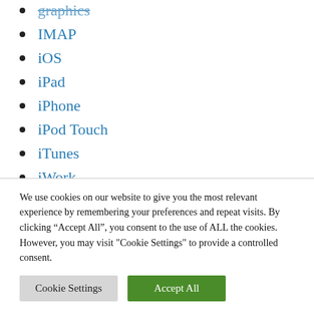graphics
IMAP
iOS
iPad
iPhone
iPod Touch
iTunes
iWork
jabber
java
We use cookies on our website to give you the most relevant experience by remembering your preferences and repeat visits. By clicking “Accept All”, you consent to the use of ALL the cookies. However, you may visit "Cookie Settings" to provide a controlled consent.